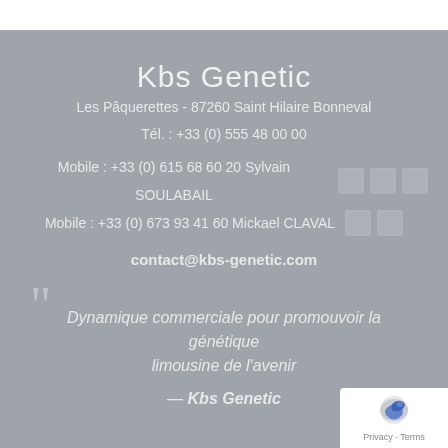Kbs Genetic
Les Pâquerettes - 87260 Saint Hilaire Bonneval
Tél. : +33 (0) 555 48 00 00
Mobile : +33 (0) 615 68 60 20 Sylvain SOULABAIL
Mobile : +33 (0) 673 93 41 60 Mickael CLAVAL
contact@kbs-genetic.com
Dynamique commerciale pour promouvoir la génétique limousine de l'avenir
— Kbs Genetic